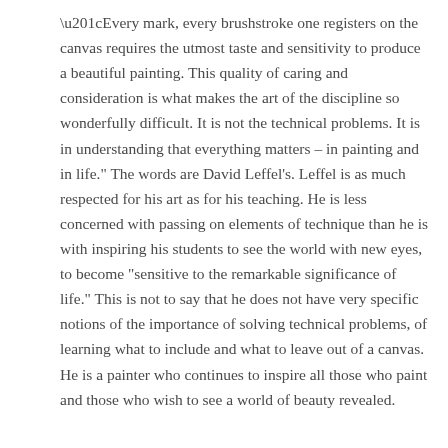“Every mark, every brushstroke one registers on the canvas requires the utmost taste and sensitivity to produce a beautiful painting. This quality of caring and consideration is what makes the art of the discipline so wonderfully difficult. It is not the technical problems. It is in understanding that everything matters – in painting and in life.” The words are David Leffel’s. Leffel is as much respected for his art as for his teaching. He is less concerned with passing on elements of technique than he is with inspiring his students to see the world with new eyes, to become “sensitive to the remarkable significance of life.” This is not to say that he does not have very specific notions of the importance of solving technical problems, of learning what to include and what to leave out of a canvas. He is a painter who continues to inspire all those who paint and those who wish to see a world of beauty revealed.